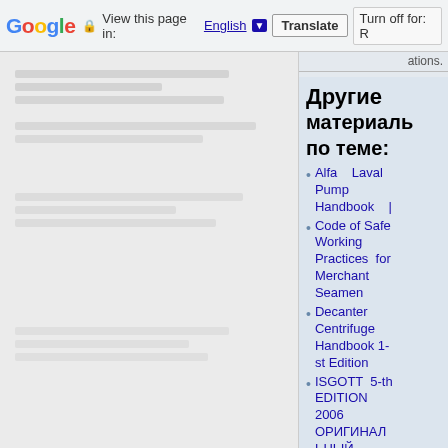Google  View this page in: English [▼]  Translate  Turn off for: R
ations.
Другие материалы по теме:
Alfa Laval Pump Handbook |
Code of Safe Working Practices for Merchant Seamen
Decanter Centrifuge Handbook 1-st Edition
ISGOTT 5-th EDITION 2006 ОРИГИНАЛЬНЫЙ
Ответы на SETS 6000 XLS